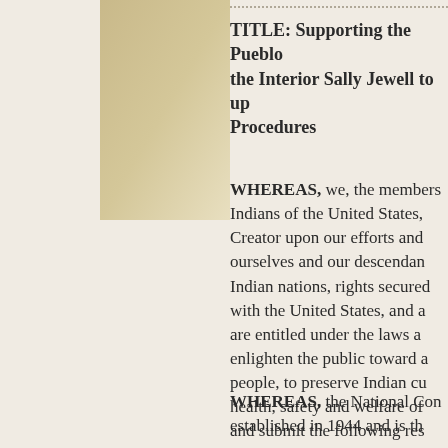[Figure (illustration): Tan/gold decorative rectangular block in the upper left area of the page against a beige background]
TITLE: Supporting the Pueblo the Interior Sally Jewell to up Procedures
WHEREAS, we, the members Indians of the United States, Creator upon our efforts and ourselves and our descendan Indian nations, rights secured with the United States, and a are entitled under the laws a enlighten the public toward a people, to preserve Indian cu health, safety and welfare of and submit the following res
WHEREAS, the National Con established in 1944 and is th